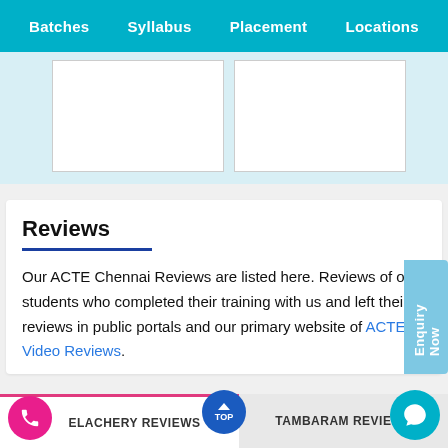Batches  Syllabus  Placement  Locations
[Figure (screenshot): Two white image placeholder boxes side by side on a light blue background]
Reviews
Our ACTE Chennai Reviews are listed here. Reviews of our students who completed their training with us and left their reviews in public portals and our primary website of ACTE & Video Reviews.
ELACHERY REVIEWS
TAMBARAM REVIEWS